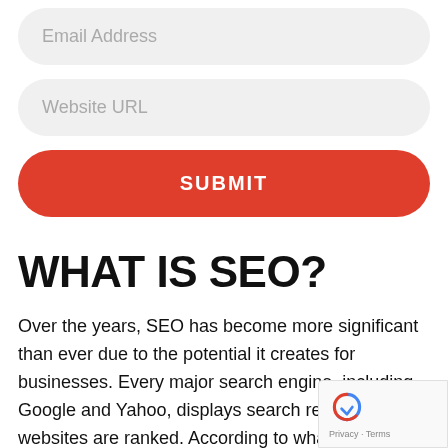Email Address
Website URL
SUBMIT
WHAT IS SEO?
Over the years, SEO has become more significant than ever due to the potential it creates for businesses. Every major search engine, including Google and Yahoo, displays search results whe websites are ranked. According to what search engine considers as the relevant content for users